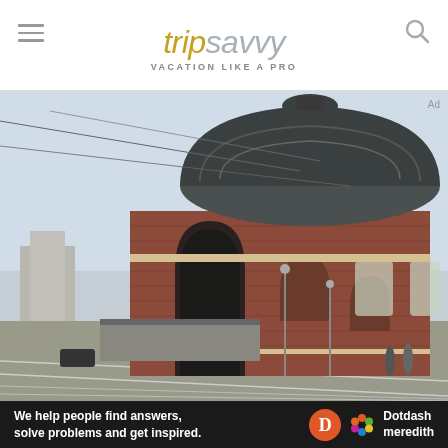tripsavvy VACATION LIKE A PRO
[Figure (photo): Exterior photo of a historic brick building with a large ornate dome roof, viewed from across a street with tram lines. The building appears to be a train station or civic hall in Tacoma, Washington. Street lamps and pedestrians visible in foreground.]
We help people find answers, solve problems and get inspired. Dotdash meredith